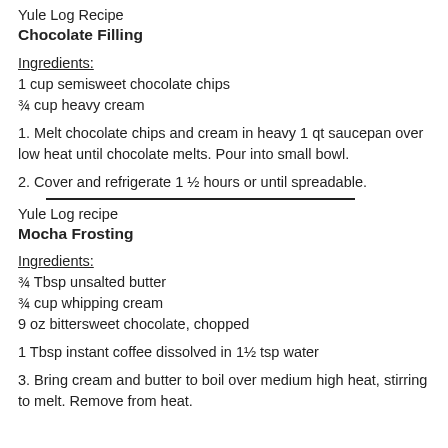Yule Log Recipe
Chocolate Filling
Ingredients:
1 cup semisweet chocolate chips
¾ cup heavy cream
1. Melt chocolate chips and cream in heavy 1 qt saucepan over low heat until chocolate melts. Pour into small bowl.
2. Cover and refrigerate 1 ½ hours or until spreadable.
Yule Log recipe
Mocha Frosting
Ingredients:
¾ Tbsp unsalted butter
¾ cup whipping cream
9 oz bittersweet chocolate, chopped
1 Tbsp instant coffee dissolved in 1½ tsp water
3. Bring cream and butter to boil over medium high heat, stirring to melt. Remove from heat.